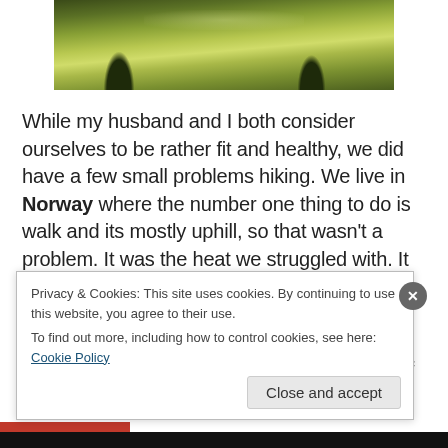[Figure (photo): Outdoor photo of trees and grass in sunlight, showing dappled shadows on a lawn]
While my husband and I both consider ourselves to be rather fit and healthy, we did have a few small problems hiking. We live in Norway where the number one thing to do is walk and its mostly uphill, so that wasn't a problem. It was the heat we struggled with. It didn't help matters that on our first day my husband wore leather boat shoes, with NO socks! Needless to say, by the time we reached our destination his shoes were full of puddles and his feet full
Privacy & Cookies: This site uses cookies. By continuing to use this website, you agree to their use.
To find out more, including how to control cookies, see here: Cookie Policy